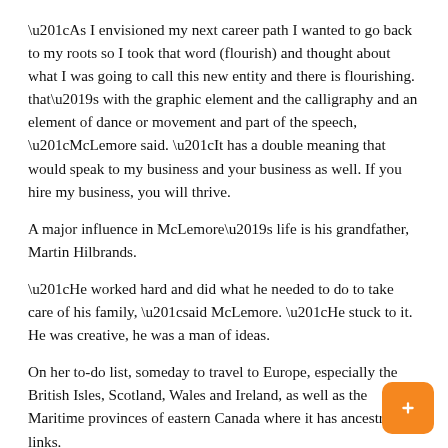“As I envisioned my next career path I wanted to go back to my roots so I took that word (flourish) and thought about what I was going to call this new entity and there is flourishing. that’s with the graphic element and the calligraphy and an element of dance or movement and part of the speech, “McLemore said. “It has a double meaning that would speak to my business and your business as well. If you hire my business, you will thrive.
A major influence in McLemore’s life is his grandfather, Martin Hilbrands.
“He worked hard and did what he needed to do to take care of his family, “said McLemore. “He stuck to it. He was creative, he was a man of ideas.
On her to-do list, someday to travel to Europe, especially the British Isles, Scotland, Wales and Ireland, as well as the Maritime provinces of eastern Canada where it has ancestral links.
“His Where did my grandma’s side come from and settled in the 1700s in the New Brunswick area, then moved to Toronto and then